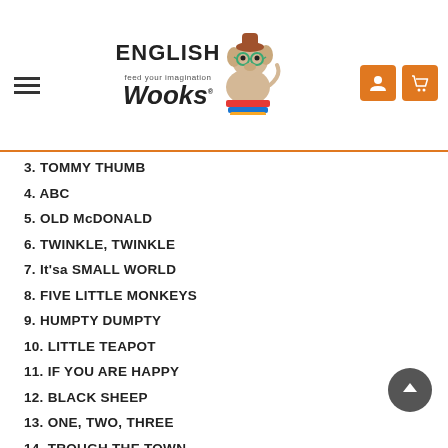[Figure (logo): English Wooks logo with cartoon dog mascot wearing glasses, sitting on books. Tagline: feed your imagination. Hamburger menu icon on left, orange user and cart icons on right.]
3. TOMMY THUMB
4. ABC
5. OLD McDONALD
6. TWINKLE, TWINKLE
7. It'sa SMALL WORLD
8. FIVE LITTLE MONKEYS
9. HUMPTY DUMPTY
10. LITTLE TEAPOT
11. IF YOU ARE HAPPY
12. BLACK SHEEP
13. ONE, TWO, THREE
14. TROUGH THE TOWN
15. ITSY BITSY
ADDITIONAL INFORMATION
ISBN 8421597066712